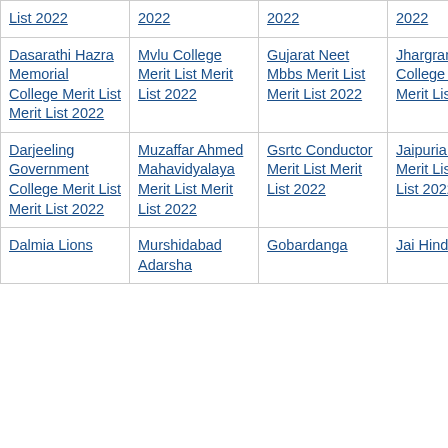| List 2022 | 2022 | 2022 | 2022 |
| Dasarathi Hazra Memorial College Merit List Merit List 2022 | Mvlu College Merit List Merit List 2022 | Gujarat Neet Mbbs Merit List Merit List 2022 | Jhargram Raj College Merit List Merit List 2022 |
| Darjeeling Government College Merit List Merit List 2022 | Muzaffar Ahmed Mahavidyalaya Merit List Merit List 2022 | Gsrtc Conductor Merit List Merit List 2022 | Jaipuria College Merit List Merit List 2022 |
| Dalmia Lions | Murshidabad Adarsha | Gobardanga | Jai Hind College |